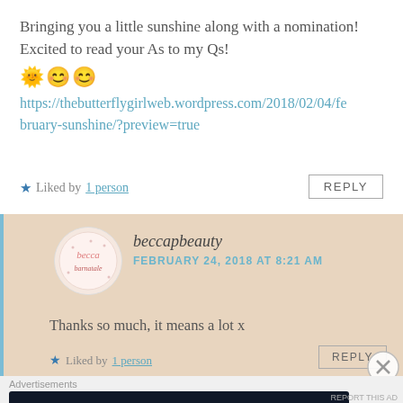Bringing you a little sunshine along with a nomination! Excited to read your As to my Qs! 🌟🌟🌟 https://thebutterflygirlweb.wordpress.com/2018/02/04/february-sunshine/?preview=true
★ Liked by 1 person
REPLY
beccapbeauty
FEBRUARY 24, 2018 AT 8:21 AM
Thanks so much, it means a lot x
★ Liked by 1 person
REPLY
Advertisements
Create surveys, polls, quizzes, and forms.